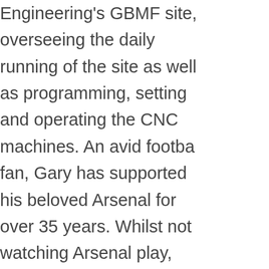Engineering's GBMF site, overseeing the daily running of the site as well as programming, setting and operating the CNC machines. An avid football fan, Gary has supported his beloved Arsenal for over 35 years. Whilst not watching Arsenal play, Gary can be found in the gym, working out 3-4 times a week.
[Figure (illustration): Cartoon caricature illustration of a woman with dark hair, wearing a purple top, smiling with hand near face]
Linzi Golding